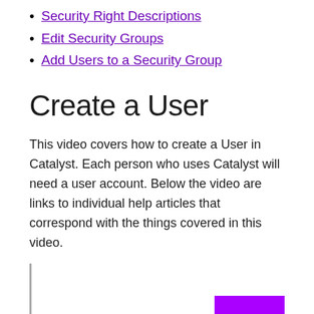Security Right Descriptions
Edit Security Groups
Add Users to a Security Group
Create a User
This video covers how to create a User in Catalyst. Each person who uses Catalyst will need a user account. Below the video are links to individual help articles that correspond with the things covered in this video.
[Figure (screenshot): Video embed area with a purple button visible at bottom right]